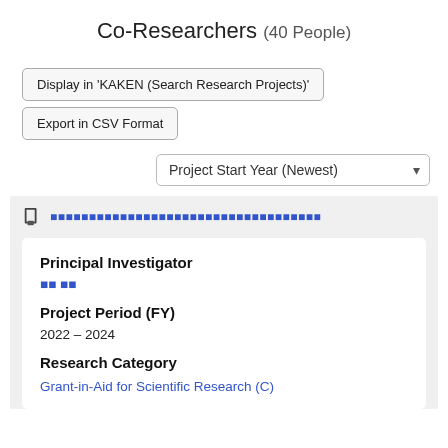Co-Researchers (40 People)
Display in 'KAKEN (Search Research Projects)'
Export in CSV Format
Project Start Year (Newest)
[Japanese title link]
Principal Investigator
[Japanese name link]
Project Period (FY)
2022 – 2024
Research Category
Grant-in-Aid for Scientific Research (C)